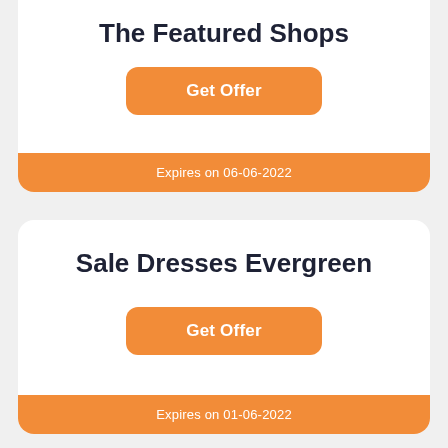The Featured Shops
Get Offer
Expires on 06-06-2022
Sale Dresses Evergreen
Get Offer
Expires on 01-06-2022